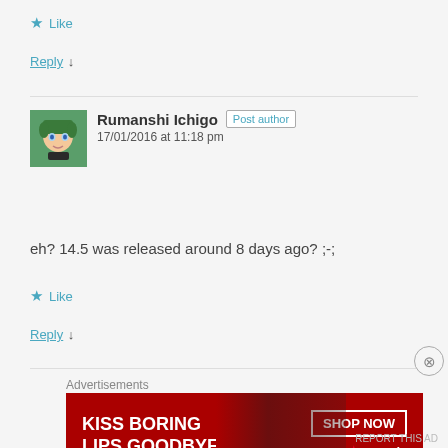★ Like
Reply ↓
Rumanshi Ichigo  Post author
17/01/2016 at 11:18 pm
eh? 14.5 was released around 8 days ago? ;-;
★ Like
Reply ↓
[Figure (screenshot): Macy's advertisement banner: 'KISS BORING LIPS GOODBYE' with SHOP NOW button and Macy's star logo on red background]
Advertisements